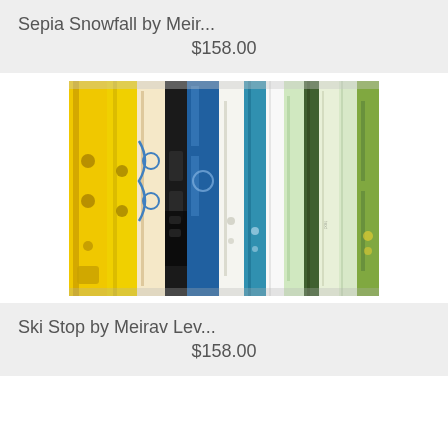Sepia Snowfall by Meir...
$158.00
[Figure (photo): Photo of multiple colorful skis and snowboards standing upright side by side, showing various colors including yellow, blue, white, and green designs]
Ski Stop by Meirav Lev...
$158.00